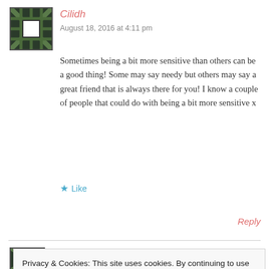[Figure (illustration): Avatar/profile image - decorative pattern in dark green and black with white center square]
Cilidh
August 18, 2016 at 4:11 pm
Sometimes being a bit more sensitive than others can be a good thing! Some may say needy but others may say a great friend that is always there for you! I know a couple of people that could do with being a bit more sensitive x
★ Like
Reply
Privacy & Cookies: This site uses cookies. By continuing to use this website, you agree to their use.
To find out more, including how to control cookies, see here: Cookie Policy
Close and accept